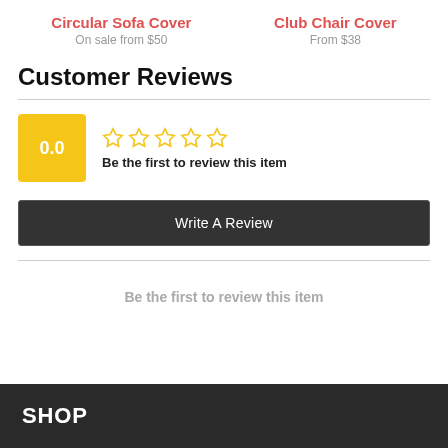Circular Sofa Cover
On sale from $50
Club Chair Cover
From $38
Customer Reviews
0.0
Be the first to review this item
Write A Review
Be the first to review this item
SHOP